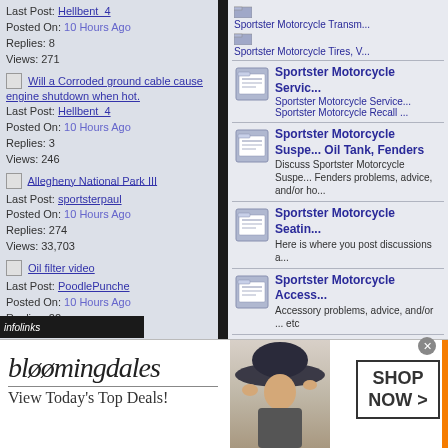Last Post: Hellbent_4
Posted On: 10 Hours Ago
Replies: 8
Views: 271
Will a Corroded ground cable cause engine shutdown when hot.
Last Post: Hellbent_4
Posted On: 10 Hours Ago
Replies: 3
Views: 246
Allegheny National Park III
Last Post: sportsterpaul
Posted On: 10 Hours Ago
Replies: 274
Views: 33,703
Oil filter video
Last Post: PoodlePunche
Posted On: 10 Hours Ago
Replies: 22
Views: 520
Who has painted their Alloy Spoke Rims?
Last Post: Hellbent_4
Posted On: 10 Hours Ago
[Figure (screenshot): Forum category listing: Sportster Motorcycle Transmission, Tires, Service, Recall, Suspension, Oil Tank, Fenders, Seating, Accessories, Lubrication and Lubricants]
[Figure (other): Bloomingdale's advertisement banner: View Today's Top Deals! Shop Now >]